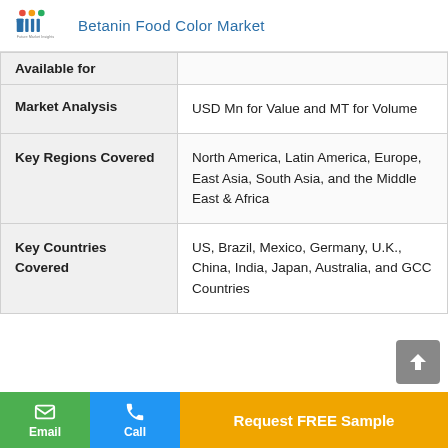Betanin Food Color Market
|  |  |
| --- | --- |
| Available for |  |
| Market Analysis | USD Mn for Value and MT for Volume |
| Key Regions Covered | North America, Latin America, Europe, East Asia, South Asia, and the Middle East & Africa |
| Key Countries Covered | US, Brazil, Mexico, Germany, U.K., China, India, Japan, Australia, and GCC Countries |